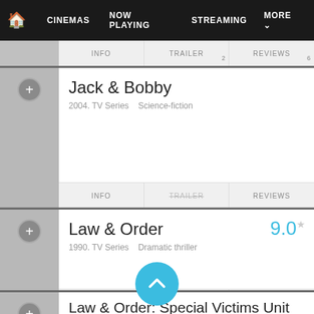CINEMAS  NOW PLAYING  STREAMING  MORE
INFO  TRAILER  2  REVIEWS  6
Jack & Bobby
2004. TV Series   Science-fiction
INFO  TRAILER  REVIEWS
Law & Order
9.0
1990. TV Series   Dramatic thriller
INFO  TRAILER  REVIEWS  1
Law & Order: Special Victims Unit
1999. TV Series   Criminal drama
prime video   hulu